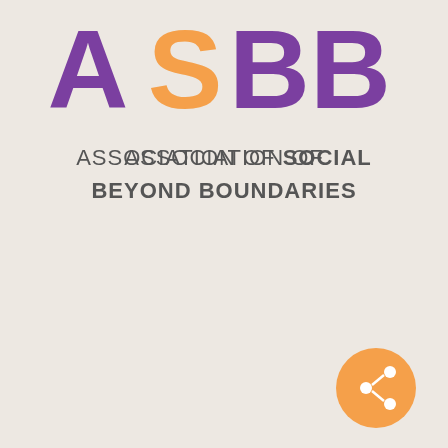[Figure (logo): ASBB logo with large stylized letters: A and BB in purple, S in orange, followed by the text ASSOCIATION OF SOCIAL BEYOND BOUNDARIES in dark gray with SOCIAL and BEYOND BOUNDARIES in bold. An orange circular icon with a share/network symbol appears at the bottom right.]